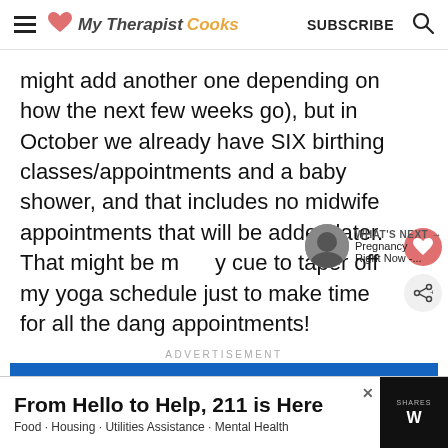My Therapist Cooks  SUBSCRIBE
might add another one depending on how the next few weeks go), but in October we already have SIX birthing classes/appointments and a baby shower, and that includes no midwife appointments that will be added later.  That might be my cue to taper off my yoga schedule just to make time for all the dang appointments!
WHAT'S NEXT → Pregnancy Right Now -...
ADVERTISEMENT
[Figure (screenshot): Blue advertisement strip]
From Hello to Help, 211 is Here  Food · Housing · Utilities Assistance · Mental Health